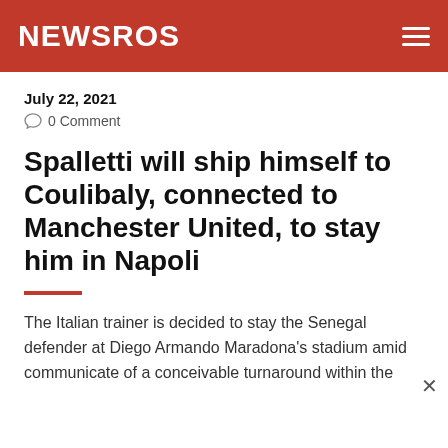NEWSROS
July 22, 2021
0 Comment
Spalletti will ship himself to Coulibaly, connected to Manchester United, to stay him in Napoli
The Italian trainer is decided to stay the Senegal defender at Diego Armando Maradona's stadium amid communicate of a conceivable turnaround within the